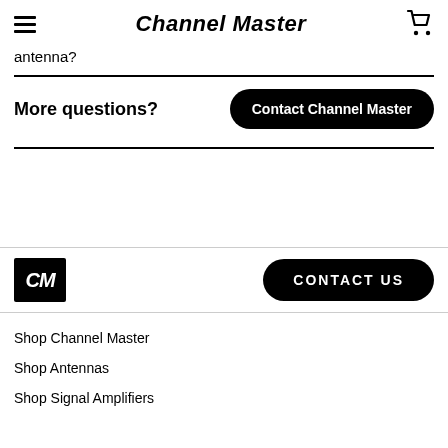Channel Master
antenna?
More questions?
Contact Channel Master
[Figure (logo): CM logo - black square with white italic CM text]
CONTACT US
Shop Channel Master
Shop Antennas
Shop Signal Amplifiers